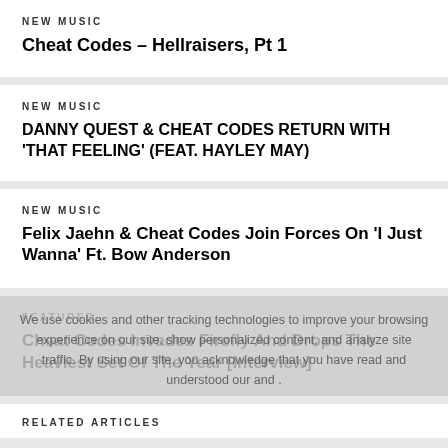NEW MUSIC
Cheat Codes – Hellraisers, Pt 1
NEW MUSIC
DANNY QUEST & CHEAT CODES RETURN WITH 'THAT FEELING' (FEAT. HAYLEY MAY)
NEW MUSIC
Felix Jaehn & Cheat Codes Join Forces On 'I Just Wanna' Ft. Bow Anderson
We use cookies and other tracking technologies to improve your browsing experience on our site, show personalized content, and analyze site traffic. By using our site, you acknowledge that you have read and understood our and .
FEATURED
Cheat Codes Invades Firefly And Drops The Heaviest Set Of The Year [Interview]
RELATED ARTICLES